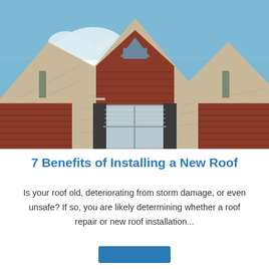[Figure (photo): Exterior photo of a brick house with tan/beige asphalt shingle roofs, multiple gabled peaks, a large window with dark shutters, and a blue sky with white clouds in the background.]
7 Benefits of Installing a New Roof
Is your roof old, deteriorating from storm damage, or even unsafe? If so, you are likely determining whether a roof repair or new roof installation...